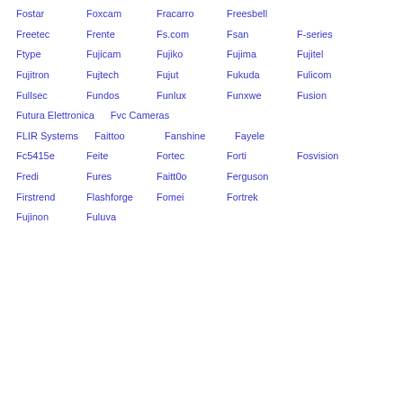Fostar
Foxcam
Fracarro
Freesbell
Freetec
Frente
Fs.com
Fsan
F-series
Ftype
Fujicam
Fujiko
Fujima
Fujitel
Fujitron
Fujtech
Fujut
Fukuda
Fulicom
Fullsec
Fundos
Funlux
Funxwe
Fusion
Futura Elettronica
Fvc Cameras
FLIR Systems
Faittoo
Fanshine
Fayele
Fc5415e
Feite
Fortec
Forti
Fosvision
Fredi
Fures
Faitt0o
Ferguson
Firstrend
Flashforge
Fomei
Fortrek
Fujinon
Fuluva